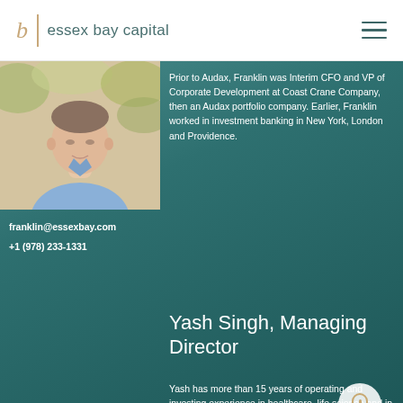essex bay capital
[Figure (photo): Professional headshot of a man in a light blue dress shirt, outdoors with blurred foliage background]
Prior to Audax, Franklin was Interim CFO and VP of Corporate Development at Coast Crane Company, then an Audax portfolio company. Earlier, Franklin worked in investment banking in New York, London and Providence.
franklin@essexbay.com
+1 (978) 233-1331
Yash Singh, Managing Director
Yash has more than 15 years of operating and investing experience in healthcare, life science and in capital markets working with both private equity and public companies. Before